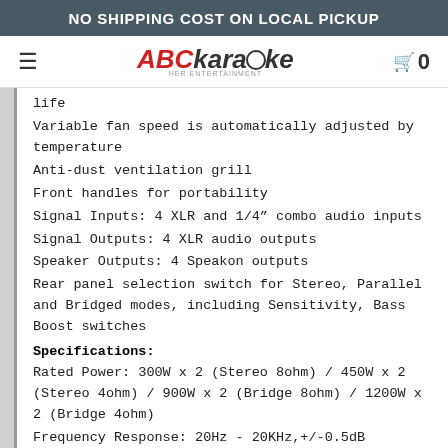NO SHIPPING COST ON LOCAL PICKUP
ABCkaraoke 0
life
Variable fan speed is automatically adjusted by temperature
Anti-dust ventilation grill
Front handles for portability
Signal Inputs: 4 XLR and 1/4" combo audio inputs
Signal Outputs: 4 XLR audio outputs
Speaker Outputs: 4 Speakon outputs
Rear panel selection switch for Stereo, Parallel and Bridged modes, including Sensitivity, Bass Boost switches
Specifications:
Rated Power: 300W x 2 (Stereo 8ohm) / 450W x 2 (Stereo 4ohm) / 900W x 2 (Bridge 8ohm) / 1200W x 2 (Bridge 4ohm)
Frequency Response: 20Hz - 20KHz,+/-0.5dB